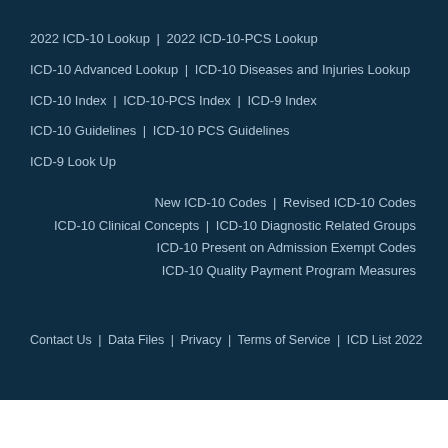2022 ICD-10 Lookup | 2022 ICD-10-PCS Lookup
ICD-10 Advanced Lookup | ICD-10 Diseases and Injuries Lookup
ICD-10 Index | ICD-10-PCS Index | ICD-9 Index
ICD-10 Guidelines | ICD-10 PCS Guidelines
ICD-9 Look Up
New ICD-10 Codes | Revised ICD-10 Codes
ICD-10 Clinical Concepts | ICD-10 Diagnostic Related Groups
ICD-10 Present on Admission Exempt Codes
ICD-10 Quality Payment Program Measures
Contact Us | Data Files | Privacy | Terms of Service | ICD List 2022